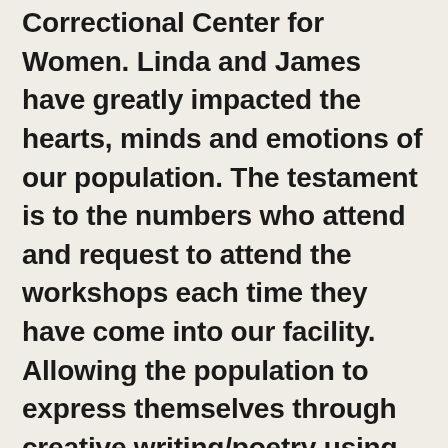Correctional Center for Women. Linda and James have greatly impacted the hearts, minds and emotions of our population. The testament is to the numbers who attend and request to attend the workshops each time they have come into our facility. Allowing the population to express themselves through creative writing/poetry using music and open conversation to inspire and support them is a profound way to reach folks who have faced much trauma in their lives. Linda and James play a vital role in